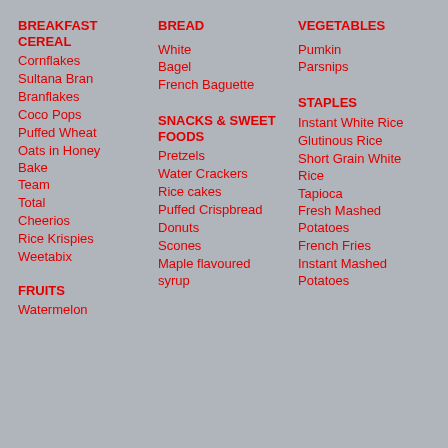BREAKFAST CEREAL
Cornflakes
Sultana Bran
Branflakes
Coco Pops
Puffed Wheat
Oats in Honey Bake
Team
Total
Cheerios
Rice Krispies
Weetabix
FRUITS
Watermelon
BREAD
White
Bagel
French Baguette
SNACKS & SWEET FOODS
Pretzels
Water Crackers
Rice cakes
Puffed Crispbread
Donuts
Scones
Maple flavoured syrup
VEGETABLES
Pumkin
Parsnips
STAPLES
Instant White Rice
Glutinous Rice
Short Grain White Rice
Tapioca
Fresh Mashed Potatoes
French Fries
Instant Mashed Potatoes